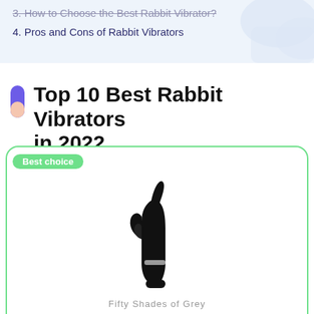3. How to Choose the Best Rabbit Vibrator?
4. Pros and Cons of Rabbit Vibrators
Top 10 Best Rabbit Vibrators in 2022
Best choice
[Figure (photo): Black rabbit vibrator product photo - Fifty Shades of Grey brand]
Fifty Shades of Grey
Material: Silicone